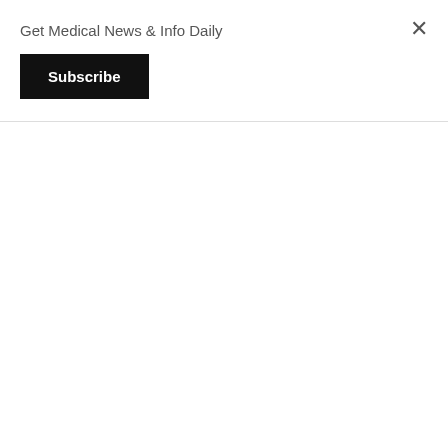Get Medical News & Info Daily
Subscribe
×
[Figure (other): Accord Healthcare logo/brand bar in blue]
NDC 16729-512-43
Atropine Sulfate Injection, USP
8 mg per 20 mL (0.4 mg per mL)
For intravenous, intramuscular, subcutaneous, intraosseous or endotracheal use.
(equivalent to 0.33 mg benzyl alcohol 9 mg; s water for injection, q.s. sulfuric acid if necessa.
Usual Dose: See pre
Store at 20°C to 25°C USP Controlled Room initial use, store betwe 25°C (68°F to 77°F) a within 24 hours.
Manufactured for: Accord Healthcare, In Durham, NC 27703.